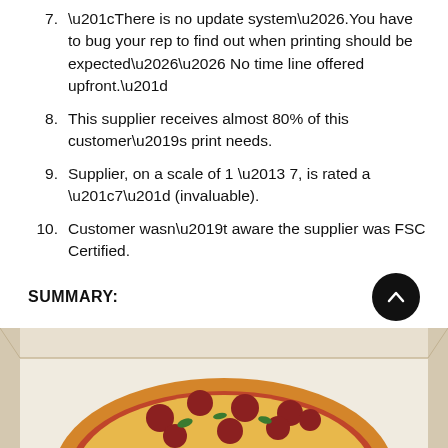7. “There is no update system….You have to bug your rep to find out when printing should be expected…… No time line offered upfront.”
8. This supplier receives almost 80% of this customer’s print needs.
9. Supplier, on a scale of 1 – 7, is rated a “7” (invaluable).
10. Customer wasn’t aware the supplier was FSC Certified.
SUMMARY:
[Figure (photo): Open pizza box with pizza visible from above, bottom portion of image]